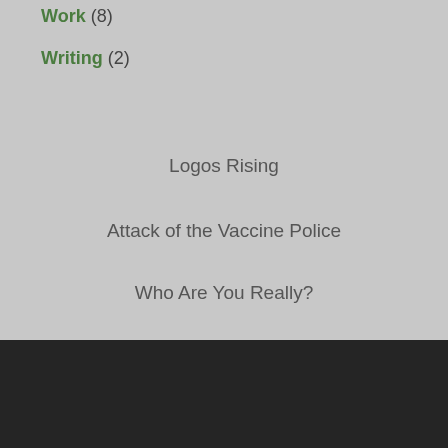Work (8)
Writing (2)
Logos Rising
Attack of the Vaccine Police
Who Are You Really?
Home
About
Athenasian Creed